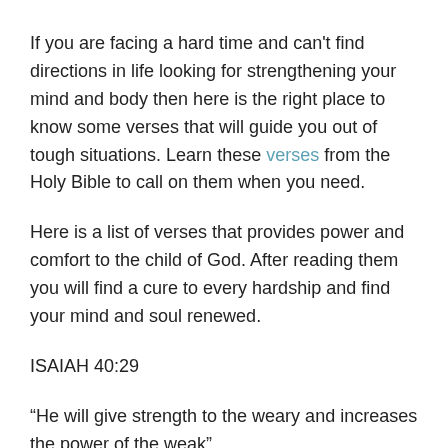If you are facing a hard time and can't find directions in life looking for strengthening your mind and body then here is the right place to know some verses that will guide you out of tough situations. Learn these verses from the Holy Bible to call on them when you need.
Here is a list of verses that provides power and comfort to the child of God. After reading them you will find a cure to every hardship and find your mind and soul renewed.
ISAIAH 40:29
“He will give strength to the weary and increases the power of the weak”.
This verse tells us that God will share his strength with the